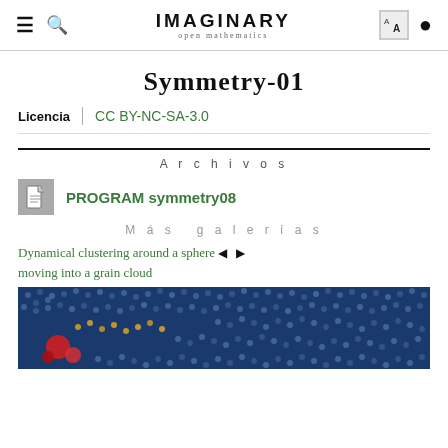IMAGINARY open mathematics
Symmetry-01
Licencia | CC BY-NC-SA-3.0
Archivos
PROGRAM symmetry08
Más galerías
Dynamical clustering around a sphere moving into a grain cloud
[Figure (photo): Close-up of a colorful mathematical visualization showing clustering patterns with dots in blue, gold, orange, and red on a dark blue background, resembling grain or particle dynamics around a sphere.]